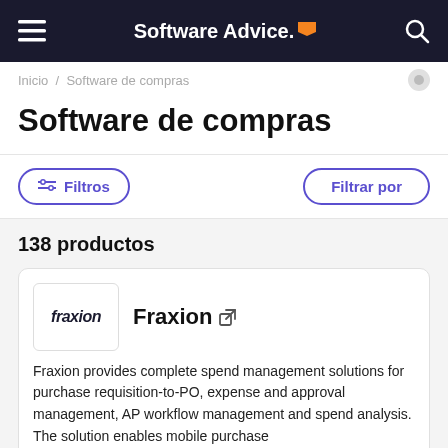Software Advice
Inicio / Software de compras
Software de compras
Filtros | Filtrar por
138 productos
Fraxion
Fraxion provides complete spend management solutions for purchase requisition-to-PO, expense and approval management, AP workflow management and spend analysis. The solution enables mobile purchase